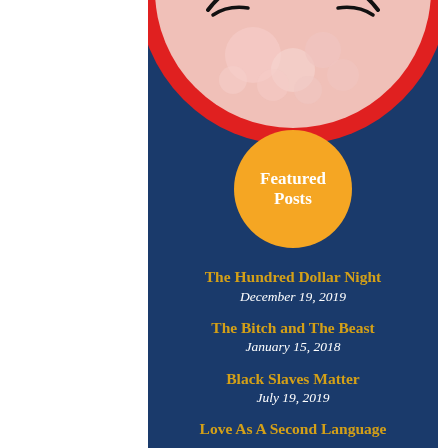[Figure (illustration): Top portion of a circular illustration with red border containing a pink/light colored face/figure, partially visible at the top of the blue background panel]
Featured Posts
The Hundred Dollar Night
December 19, 2019
The Bitch and The Beast
January 15, 2018
Black Slaves Matter
July 19, 2019
Love As A Second Language